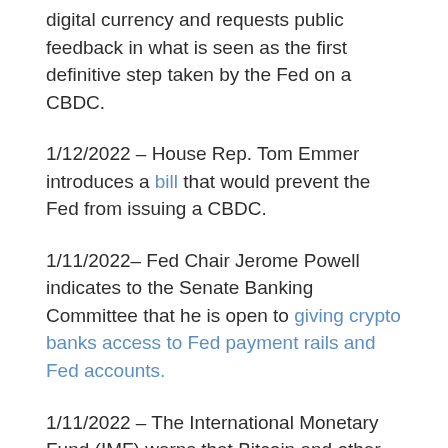digital currency and requests public feedback in what is seen as the first definitive step taken by the Fed on a CBDC.
1/12/2022 – House Rep. Tom Emmer introduces a bill that would prevent the Fed from issuing a CBDC.
1/11/2022– Fed Chair Jerome Powell indicates to the Senate Banking Committee that he is open to giving crypto banks access to Fed payment rails and Fed accounts.
1/11/2022 – The International Monetary Fund (IMF) warns that Bitcoin and other cryptocurrencies can no longer provide a hedge against investments due to a significant increase in the correlation between digital assets and traditional asset